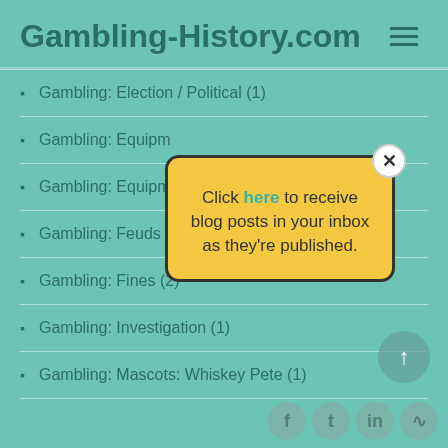Gambling-History.com
Gambling: Election / Political (1)
Gambling: Equipment
Gambling: Equipment
Gambling: Feuds (
Gambling: Fines (2)
Gambling: Investigation (1)
Gambling: Mascots: Whiskey Pete (1)
[Figure (screenshot): Popup dialog with yellow background saying 'Click here to receive blog posts in your inbox as they’re published.' with a close X button]